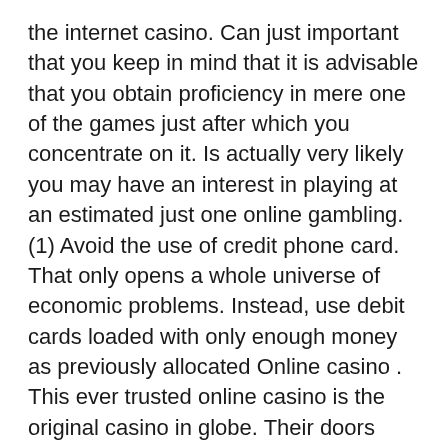the internet casino. Can just important that you keep in mind that it is advisable that you obtain proficiency in mere one of the games just after which you concentrate on it. Is actually very likely you may have an interest in playing at an estimated just one online gambling. (1) Avoid the use of credit phone card. That only opens a whole universe of economic problems. Instead, use debit cards loaded with only enough money as previously allocated Online casino . This ever trusted online casino is the original casino in globe. Their doors opened in 2007 for players that are seeking different regarding thrill and excitement in gambling. You cannot ever go wrong with this casino as things are under the supervision in the trusted English Harbour Group that is well know of holding and operating top online casinos. And with it, Caribbean Gold Casino is employing the ever reliable Vegas Technology.